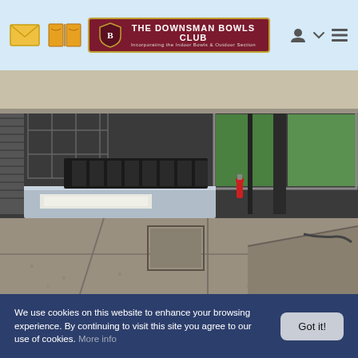The Downsman Bowls Club
[Figure (photo): Construction site photo showing a building under renovation. The image depicts a covered outdoor area with large concrete floor slabs, stacked construction materials including insulation boards and metal frames, dark cladded walls with large windows, and a green bowling green visible in the background.]
We use cookies on this website to enhance your browsing experience. By continuing to visit this site you agree to our use of cookies. More info